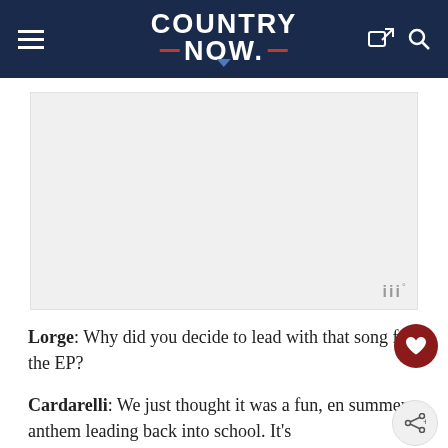COUNTRY NOW
[Figure (other): Advertisement placeholder rectangle with grey background, showing small 'iii°' badge in bottom right corner]
Lorge: Why did you decide to lead with that song for the EP?
Cardarelli: We just thought it was a fun, en... summer anthem leading back into school. It's